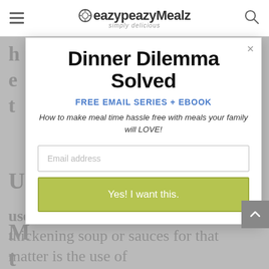eazypeazyMealz simply delicious
Dinner Dilemma Solved
FREE EMAIL SERIES + EBOOK
How to make meal time hassle free with meals your family will LOVE!
Email address
Yes! I want this.
use cornstarch. Another option for thickening soup or sauces for that matter is the use of